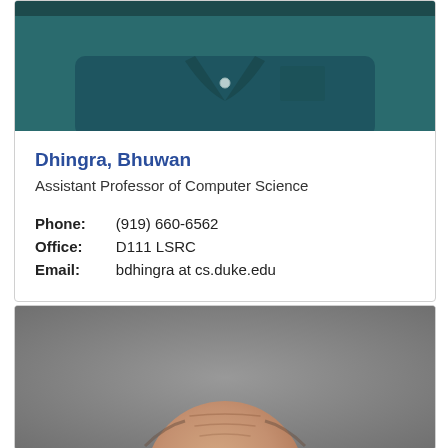[Figure (photo): Top portion of a faculty profile photo showing the torso and lower neck area of a person wearing a dark teal/green button-up shirt]
Dhingra, Bhuwan
Assistant Professor of Computer Science
| Phone: | (919) 660-6562 |
| Office: | D111 LSRC |
| Email: | bdhingra at cs.duke.edu |
[Figure (photo): Top portion of a second faculty profile photo showing the top of a bald/balding head with forehead wrinkle lines against a gray background]